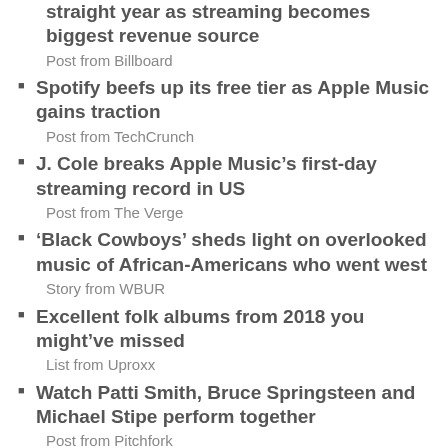straight year as streaming becomes biggest revenue source
Post from Billboard
Spotify beefs up its free tier as Apple Music gains traction
Post from TechCrunch
J. Cole breaks Apple Music’s first-day streaming record in US
Post from The Verge
‘Black Cowboys’ sheds light on overlooked music of African-Americans who went west
Story from WBUR
Excellent folk albums from 2018 you might’ve missed
List from Uproxx
Watch Patti Smith, Bruce Springsteen and Michael Stipe perform together
Post from Pitchfork